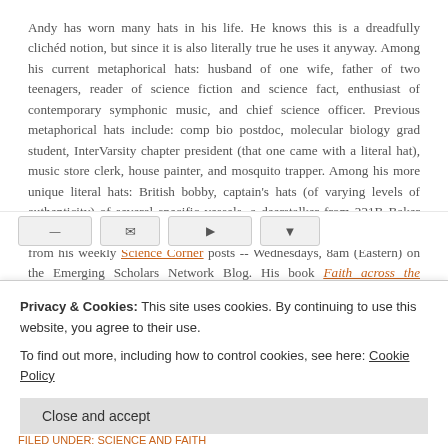Andy has worn many hats in his life. He knows this is a dreadfully clichéd notion, but since it is also literally true he uses it anyway. Among his current metaphorical hats: husband of one wife, father of two teenagers, reader of science fiction and science fact, enthusiast of contemporary symphonic music, and chief science officer. Previous metaphorical hats include: comp bio postdoc, molecular biology grad student, InterVarsity chapter president (that one came with a literal hat), music store clerk, house painter, and mosquito trapper. Among his more unique literal hats: British bobby, captain's hats (of varying levels of authenticity) of several specific vessels, a deerstalker from 221B Baker St, and a railroad engineer's cap. His monthly Science in Review is drawn from his weekly Science Corner posts -- Wednesdays, 8am (Eastern) on the Emerging Scholars Network Blog. His book Faith across the Multiverse is available from Hendrickson.
Privacy & Cookies: This site uses cookies. By continuing to use this website, you agree to their use.
To find out more, including how to control cookies, see here: Cookie Policy